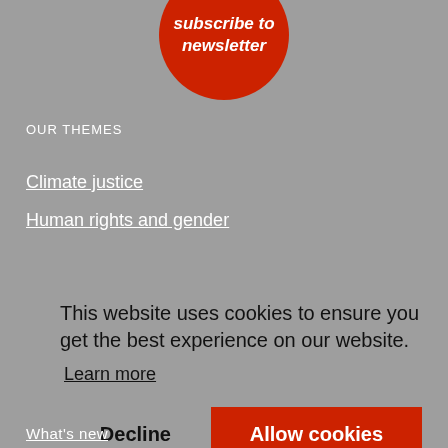[Figure (other): Red circle button with italic white text 'subscribe to newsletter']
OUR THEMES
Climate justice
Human rights and gender
This website uses cookies to ensure you get the best experience on our website.
Learn more
Decline
Allow cookies
What's new